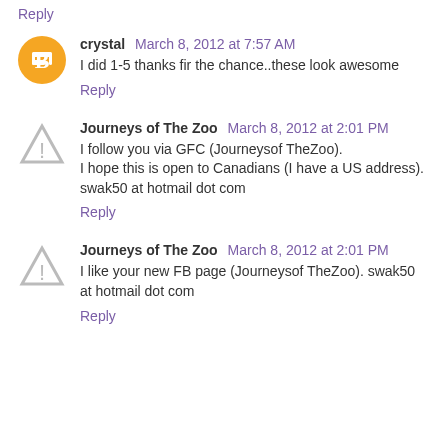Reply
crystal  March 8, 2012 at 7:57 AM
I did 1-5 thanks fir the chance..these look awesome
Reply
Journeys of The Zoo  March 8, 2012 at 2:01 PM
I follow you via GFC (Journeysof TheZoo).
I hope this is open to Canadians (I have a US address).
swak50 at hotmail dot com
Reply
Journeys of The Zoo  March 8, 2012 at 2:01 PM
I like your new FB page (Journeysof TheZoo). swak50 at hotmail dot com
Reply